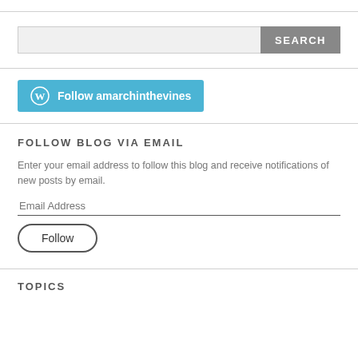[Figure (screenshot): Search input field with a grey SEARCH button]
[Figure (screenshot): Blue WordPress Follow button labeled 'Follow amarchinthevines']
FOLLOW BLOG VIA EMAIL
Enter your email address to follow this blog and receive notifications of new posts by email.
[Figure (screenshot): Email Address input field and a Follow button]
TOPICS